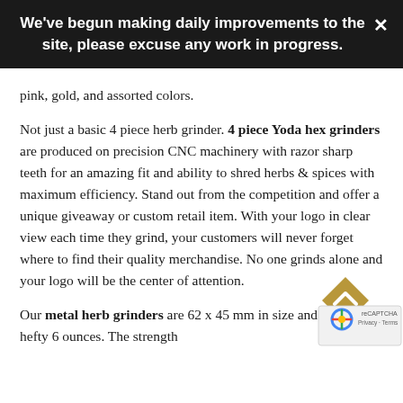We've begun making daily improvements to the site, please excuse any work in progress.
pink, gold, and assorted colors.
Not just a basic 4 piece herb grinder. 4 piece Yoda hex grinders are produced on precision CNC machinery with razor sharp teeth for an amazing fit and ability to shred herbs & spices with maximum efficiency. Stand out from the competition and offer a unique giveaway or custom retail item. With your logo in clear view each time they grind, your customers will never forget where to find their quality merchandise. No one grinds alone and your logo will be the center of attention.
Our metal herb grinders are 62 x 45 mm in size and weigh a hefty 6 ounces. The strength